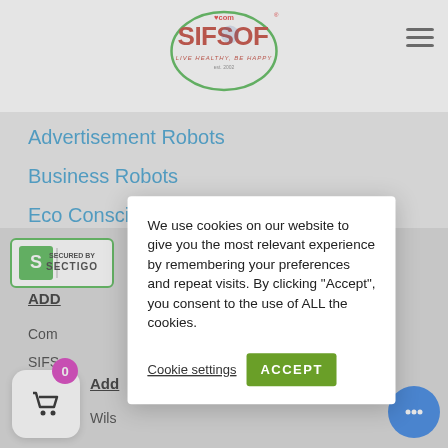[Figure (logo): SIFSOF.com logo with globe and tagline 'Live Healthy, Be Happy', green oval border, est. 2002]
Advertisement Robots
Business Robots
Eco Consciousness
[Figure (logo): Secured by Sectigo badge, green border, S icon]
We use cookies on our website to give you the most relevant experience by remembering your preferences and repeat visits. By clicking "Accept", you consent to the use of ALL the cookies.
Cookie settings
ACCEPT